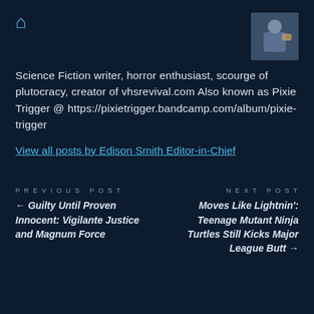[Figure (photo): Small profile photo of a person in top right corner]
Science Fiction writer, horror enthusiast, scourge of plutocracy, creator of vhsrevival.com Also known as Pixie Trigger @ https://pixietrigger.bandcamp.com/album/pixie-trigger
View all posts by Edison Smith Editor-in-Chief
PREVIOUS POST
← Guilty Until Proven Innocent: Vigilante Justice and Magnum Force
NEXT POST
Moves Like Lightnin': Teenage Mutant Ninja Turtles Still Kicks Major League Butt →